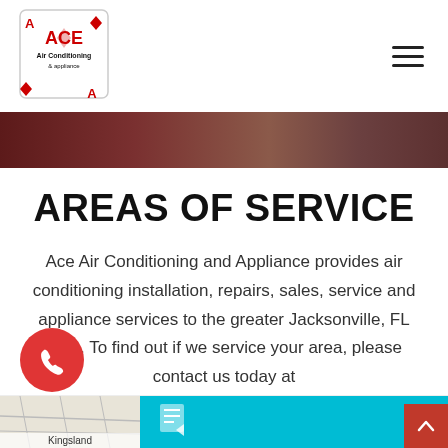[Figure (logo): Ace Air Conditioning and Appliance logo — playing card style with red diamonds and ACE text]
[Figure (other): Hamburger menu icon (three horizontal lines)]
[Figure (photo): Dark brownish-red banner image background]
AREAS OF SERVICE
Ace Air Conditioning and Appliance provides air conditioning installation, repairs, sales, service and appliance services to the greater Jacksonville, FL area. To find out if we service your area, please contact us today at
(904) 646-3676
[Figure (other): Red circular phone call button at bottom left]
[Figure (map): Partial map thumbnail showing Kingsland area]
[Figure (photo): Cyan/teal section with partial image at bottom right]
[Figure (other): Red scroll-to-top button with up arrow at bottom right corner]